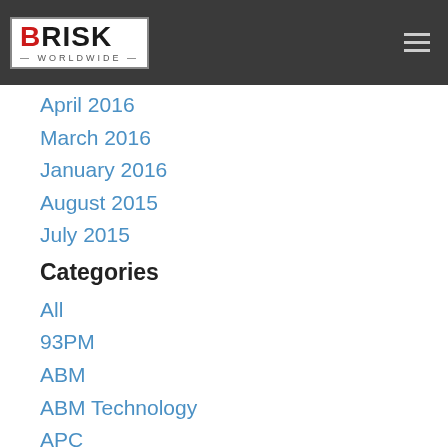[Figure (logo): Brisk Worldwide logo in white/grey header bar with hamburger menu icon]
April 2016
March 2016
January 2016
August 2015
July 2015
Categories
All
93PM
ABM
ABM Technology
APC
Automation
Battery Testing
Cabinet
Cabinets
Cable Management
Cable Manager